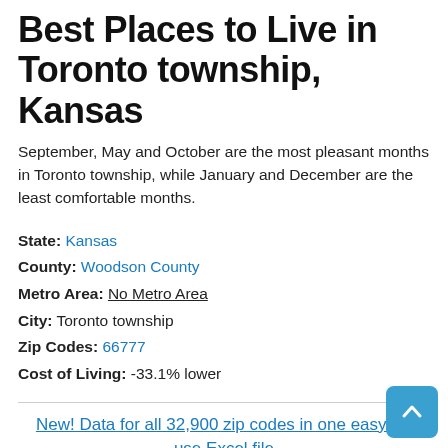Best Places to Live in Toronto township, Kansas
September, May and October are the most pleasant months in Toronto township, while January and December are the least comfortable months.
State: Kansas
County: Woodson County
Metro Area: No Metro Area
City: Toronto township
Zip Codes: 66777
Cost of Living: -33.1% lower
New! Data for all 32,900 zip codes in one easy-to-use Excel file